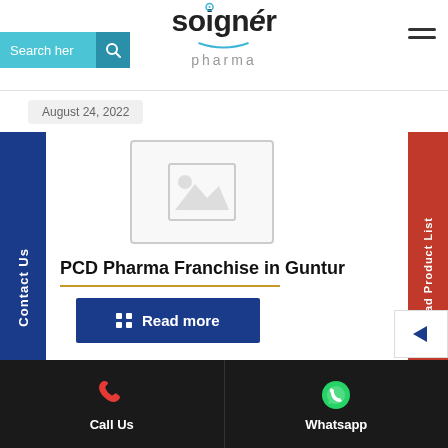[Figure (logo): Soigner Pharma logo with search bar and hamburger menu]
August 24, 2022
[Figure (photo): Placeholder image with mountain/landscape icon in grey border]
PCD Pharma Franchise in Guntur
Read more
Call Us | Whatsapp